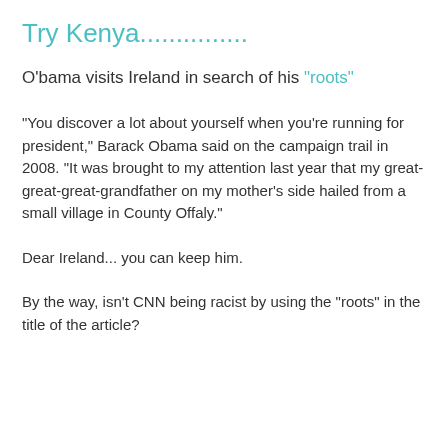Try Kenya...............
O'bama visits Ireland in search of his "roots"
"You discover a lot about yourself when you're running for president," Barack Obama said on the campaign trail in 2008. "It was brought to my attention last year that my great-great-great-grandfather on my mother's side hailed from a small village in County Offaly."
Dear Ireland... you can keep him.
By the way, isn't CNN being racist by using the "roots" in the title of the article?